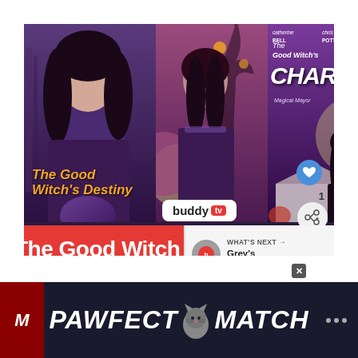[Figure (screenshot): Screenshot of BuddyTV article showing three Good Witch movie posters (The Good Witch's Destiny, The Good Witch's Charm) with a BuddyTV logo overlay, a red banner reading 'The Good Witch Movies In Order', and a 'What's Next - Grey's Anatomy:...' overlay panel]
buddy tv
The Good Witch Movies In
WHAT'S NEXT → Grey's Anatomy:...
[Figure (advertisement): PAWFECT MATCH advertisement banner with cat icon on dark background]